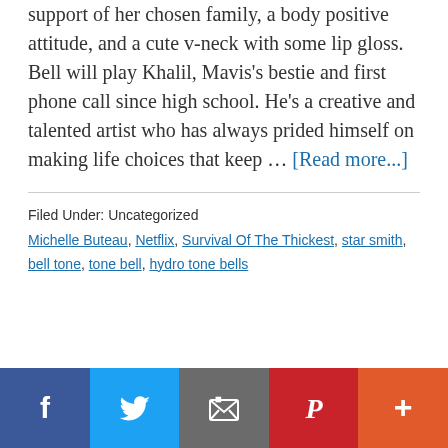support of her chosen family, a body positive attitude, and a cute v-neck with some lip gloss. Bell will play Khalil, Mavis's bestie and first phone call since high school. He's a creative and talented artist who has always prided himself on making life choices that keep … [Read more...]
Filed Under: Uncategorized
Michelle Buteau, Netflix, Survival Of The Thickest, star smith, bell tone, tone bell, hydro tone bells
[Figure (infographic): Social sharing bar with 5 buttons: Facebook (dark blue), Twitter (light blue), Email (gray), Pinterest (red), More (orange-red)]